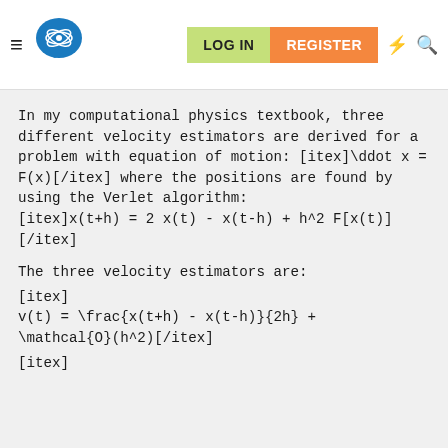Navigation bar with logo, LOG IN, REGISTER buttons
In my computational physics textbook, three different velocity estimators are derived for a problem with equation of motion: [itex]\ddot x = F(x)[/itex] where the positions are found by using the Verlet algorithm: [itex]x(t+h) = 2 x(t) - x(t-h) + h^2 F[x(t)][/itex]
The three velocity estimators are: